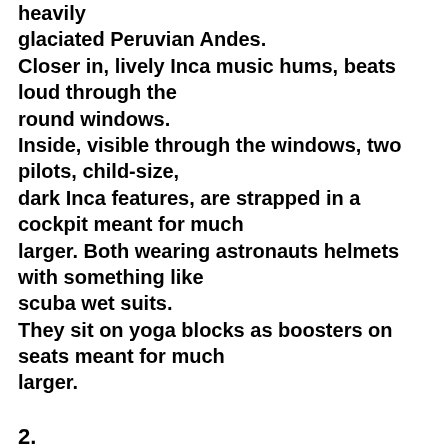heavily glaciated Peruvian Andes. Closer in, lively Inca music hums, beats loud through the round windows. Inside, visible through the windows, two pilots, child-size, dark Inca features, are strapped in a cockpit meant for much larger. Both wearing astronauts helmets with something like scuba wet suits. They sit on yoga blocks as boosters on seats meant for much larger.
2.
2.